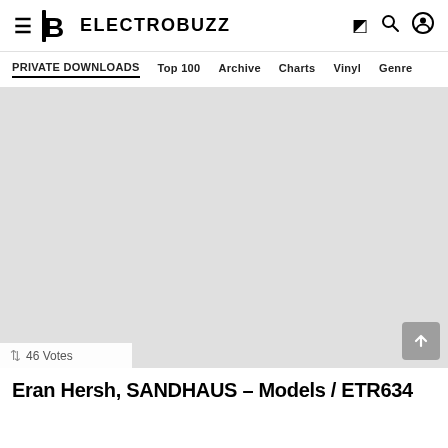ELECTROBUZZ — PRIVATE DOWNLOADS, Top 100, Archive, Charts, Vinyl, Genre
[Figure (screenshot): Large gray placeholder image area for a music release]
46 Votes
Eran Hersh, SANDHAUS – Models / ETR634